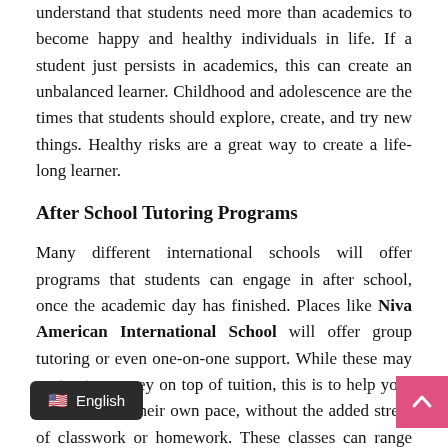understand that students need more than academics to become happy and healthy individuals in life. If a student just persists in academics, this can create an unbalanced learner. Childhood and adolescence are the times that students should explore, create, and try new things. Healthy risks are a great way to create a life-long learner.
After School Tutoring Programs
Many different international schools will offer programs that students can engage in after school, once the academic day has finished. Places like Niva American International School will offer group tutoring or even one-on-one support. While these may cost extra money on top of tuition, this is to help your child excel at their own pace, without the added stress of classwork or homework. These classes can range from academic help on subjects in school, or even towards students that play instruments or want to learn another language.